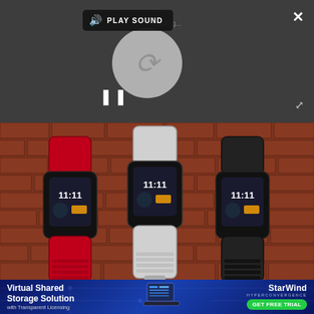[Figure (screenshot): Video overlay UI with dark background, Play Sound button with speaker icon, a loading circle with pause button, close X button, and expand arrows button]
[Figure (photo): Three fitness tracker bands (Fitband) displayed against a brick wall background: red, white, and black variants, each showing 11:11 on the display]
Experts Say This Fitband Is A Must For...
[Figure (infographic): StarWind advertisement banner: Virtual Shared Storage Solution with Transparent Licensing, laptop illustration, StarWind Hyperconvergence logo, GET FREE TRIAL button]